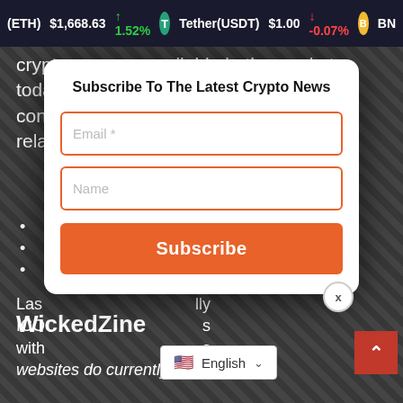(ETH) $1,668.63 ↑ 1.52% Tether(USDT) $1.00 ↓ -0.07% BN
cryptocurrency available in the market today. Not only that, but the website also contains a large amount of information related to other ass...
•
•
•
Las... ICO... with... websites do currently.
[Figure (screenshot): Subscribe To The Latest Crypto News modal dialog with Email and Name input fields and a Subscribe button]
WickedZine
English